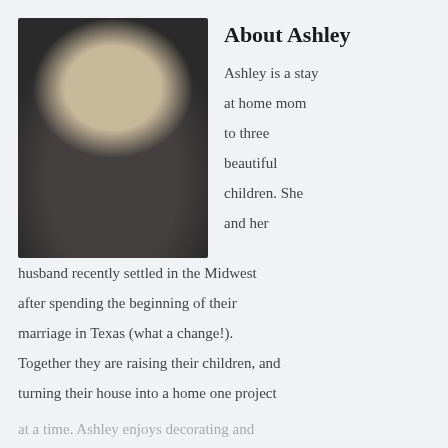[Figure (photo): Portrait photo of a woman with glasses and long blonde hair, holding a white mug, wearing a striped top, photographed against a dark background.]
About Ashley
Ashley is a stay at home mom to three beautiful children. She and her husband recently settled in the Midwest after spending the beginning of their marriage in Texas (what a change!). Together they are raising their children, and turning their house into a home one project at a time. Ashley enjoys decorating and crafting, but her true passion lies in redoing